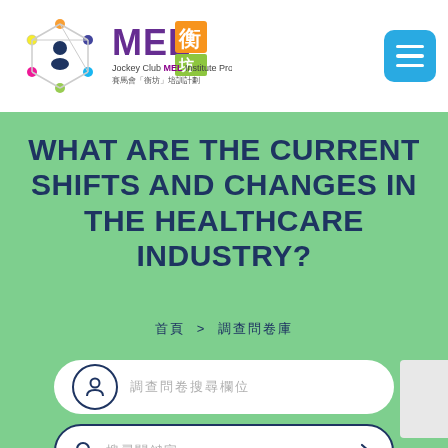[Figure (logo): Jockey Club MEL Institute Project logo with colorful network icon and MEL text with Chinese characters]
WHAT ARE THE CURRENT SHIFTS AND CHANGES IN THE HEALTHCARE INDUSTRY?
首頁 > 調查問卷庫
調查問卷搜尋欄位
搜尋關鍵字